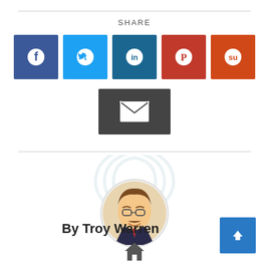SHARE
[Figure (infographic): Social share buttons: Facebook (dark blue), Twitter (light blue), LinkedIn (teal blue), Pinterest (red), StumbleUpon (orange-red), and an email button (dark gray).]
[Figure (illustration): Caricature illustration of a man (Troy Warren) with glasses and a mustache, wearing a suit with a red tie, with a microphone/drone nearby, surrounded by signal wave arcs in light blue/gray.]
By Troy Warren
[Figure (infographic): House/home icon and scroll-to-top arrow button in blue.]